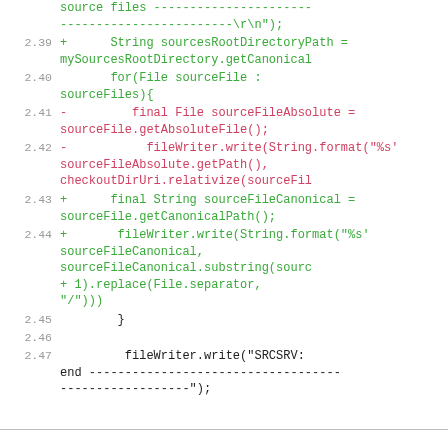[Figure (screenshot): Code diff snippet showing lines 2.39-2.47 of a Java source file with line numbers, green lines for additions (+) and red lines for removals (-), monospace font on white background.]